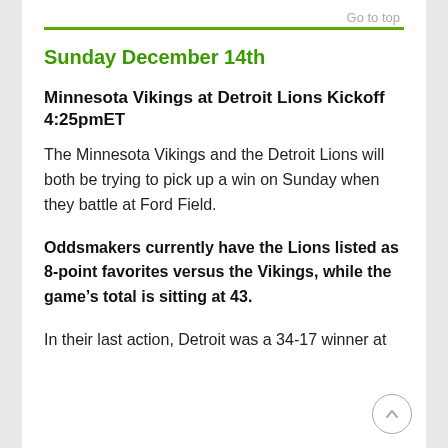Go to top
Sunday December 14th
Minnesota Vikings at Detroit Lions Kickoff 4:25pmET
The Minnesota Vikings and the Detroit Lions will both be trying to pick up a win on Sunday when they battle at Ford Field.
Oddsmakers currently have the Lions listed as 8-point favorites versus the Vikings, while the game’s total is sitting at 43.
In their last action, Detroit was a 34-17 winner at